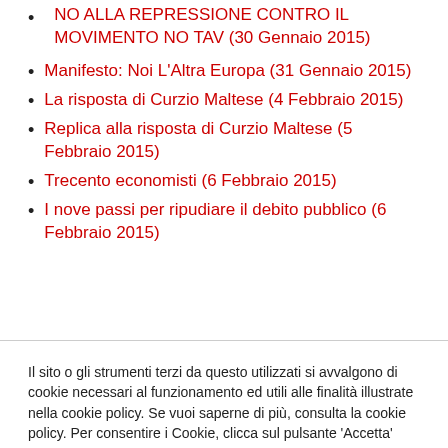NO ALLA REPRESSIONE CONTRO IL MOVIMENTO NO TAV (30 Gennaio 2015)
Manifesto: Noi L'Altra Europa (31 Gennaio 2015)
La risposta di Curzio Maltese (4 Febbraio 2015)
Replica alla risposta di Curzio Maltese (5 Febbraio 2015)
Trecento economisti (6 Febbraio 2015)
I nove passi per ripudiare il debito pubblico (6 Febbraio 2015)
Il sito o gli strumenti terzi da questo utilizzati si avvalgono di cookie necessari al funzionamento ed utili alle finalità illustrate nella cookie policy. Se vuoi saperne di più, consulta la cookie policy. Per consentire i Cookie, clicca sul pulsante 'Accetta'